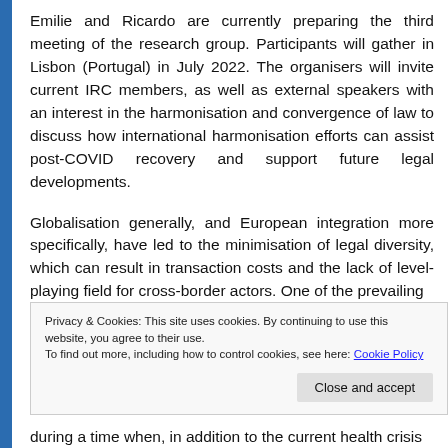Emilie and Ricardo are currently preparing the third meeting of the research group. Participants will gather in Lisbon (Portugal) in July 2022. The organisers will invite current IRC members, as well as external speakers with an interest in the harmonisation and convergence of law to discuss how international harmonisation efforts can assist post-COVID recovery and support future legal developments.
Globalisation generally, and European integration more specifically, have led to the minimisation of legal diversity, which can result in transaction costs and the lack of level-playing field for cross-border actors. One of the prevailing
Privacy & Cookies: This site uses cookies. By continuing to use this website, you agree to their use.
To find out more, including how to control cookies, see here: Cookie Policy
during a time when, in addition to the current health crisis